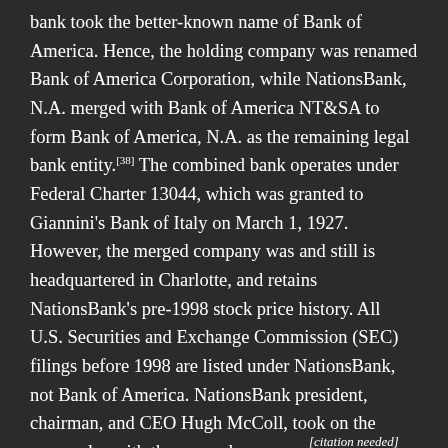bank took the better-known name of Bank of America. Hence, the holding company was renamed Bank of America Corporation, while NationsBank, N.A. merged with Bank of America NT&SA to form Bank of America, N.A. as the remaining legal bank entity.[38] The combined bank operates under Federal Charter 13044, which was granted to Giannini's Bank of Italy on March 1, 1927. However, the merged company was and still is headquartered in Charlotte, and retains NationsBank's pre-1998 stock price history. All U.S. Securities and Exchange Commission (SEC) filings before 1998 are listed under NationsBank, not Bank of America. NationsBank president, chairman, and CEO Hugh McColl, took on the same roles with the merged company.[citation needed]
In 1998, Bank of America possessed combined assets of